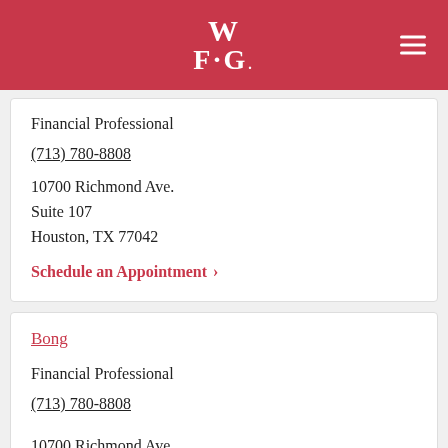WFG
Financial Professional
(713) 780-8808
10700 Richmond Ave.
Suite 107
Houston, TX 77042
Schedule an Appointment >
Bong
Financial Professional
(713) 780-8808
10700 Richmond Ave.